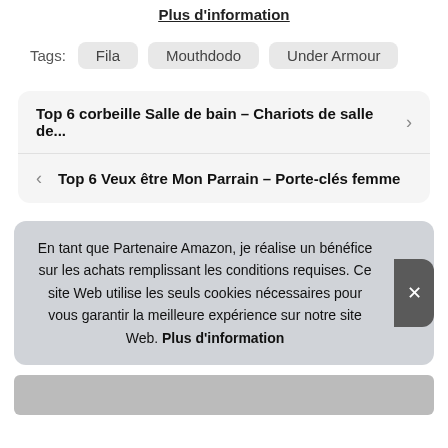Plus d'information
Tags: Fila  Mouthdodo  Under Armour
Top 6 corbeille Salle de bain – Chariots de salle de...
Top 6 Veux être Mon Parrain – Porte-clés femme
En tant que Partenaire Amazon, je réalise un bénéfice sur les achats remplissant les conditions requises. Ce site Web utilise les seuls cookies nécessaires pour vous garantir la meilleure expérience sur notre site Web. Plus d'information
[Figure (photo): Bottom image strip partially visible]